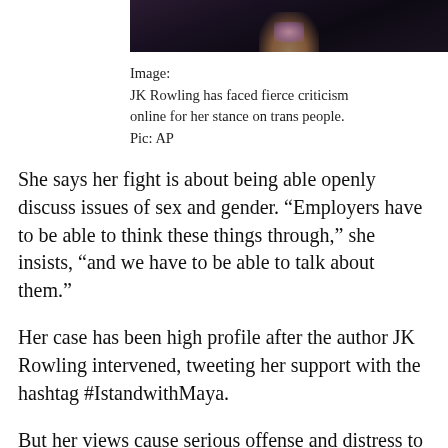[Figure (photo): Partial photo of a woman, dark background, visible necklace, cropped at top of page]
Image:
JK Rowling has faced fierce criticism online for her stance on trans people.
Pic: AP
She says her fight is about being able openly discuss issues of sex and gender. “Employers have to be able to think these things through,” she insists, “and we have to be able to talk about them.”
Her case has been high profile after the author JK Rowling intervened, tweeting her support with the hashtag #IstandwithMaya.
But her views cause serious offense and distress to many transgender people. Many say they amount